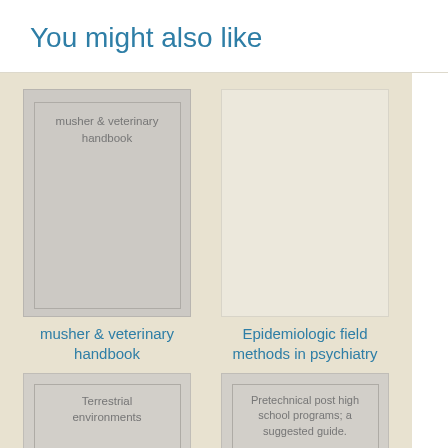You might also like
[Figure (illustration): Book cover for 'musher & veterinary handbook' — gray cover with inner border and title text at top]
musher & veterinary handbook
[Figure (illustration): Book cover for 'Epidemiologic field methods in psychiatry' — cream/beige blank cover]
Epidemiologic field methods in psychiatry
[Figure (illustration): Book cover for 'Terrestrial environments' — gray cover with inner border and title text]
[Figure (illustration): Book cover for 'Pretechnical post high school programs; a suggested guide.' — gray cover with inner border and title text]